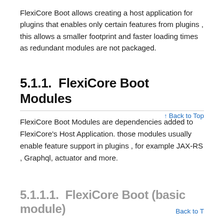FlexiCore Boot allows creating a host application for plugins that enables only certain features from plugins , this allows a smaller footprint and faster loading times as redundant modules are not packaged.
5.1.1.  FlexiCore Boot Modules
FlexiCore Boot Modules are dependencies added to FlexiCore's Host Application. those modules usually enable feature support in plugins , for example JAX-RS , Graphql, actuator and more.
5.1.1.1.  FlexiCore Boot (basic module)